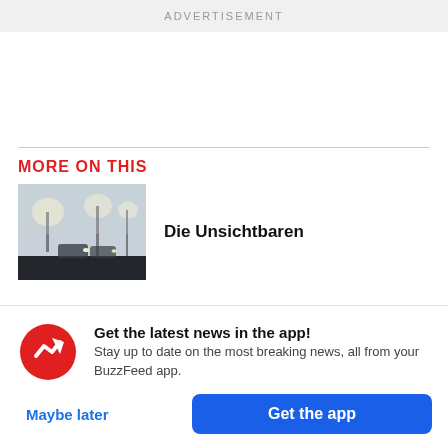ADVERTISEMENT
MORE ON THIS
[Figure (photo): Foggy night scene viewed from inside a car, showing street lights and vehicles in heavy fog]
Die Unsichtbaren
Get the latest news in the app! Stay up to date on the most breaking news, all from your BuzzFeed app.
Maybe later
Get the app